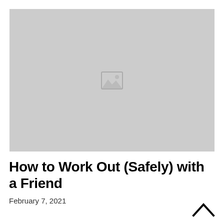[Figure (photo): Large placeholder image with gray background and broken image icon in the center]
How to Work Out (Safely) with a Friend
February 7, 2021